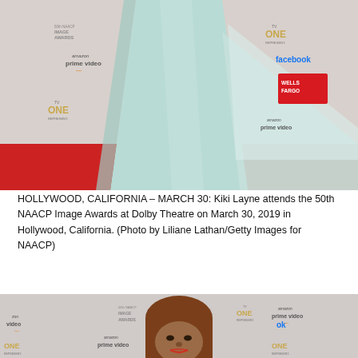[Figure (photo): Photo of Kiki Layne at the 50th NAACP Image Awards red carpet, wearing a flowing light blue/mint gown with a long train. Background shows sponsor logos including Amazon Prime Video, TV ONE, Facebook, Wells Fargo, and NAACP Image Awards branding on a red carpet.]
HOLLYWOOD, CALIFORNIA – MARCH 30: Kiki Layne attends the 50th NAACP Image Awards at Dolby Theatre on March 30, 2019 in Hollywood, California. (Photo by Liliane Lathan/Getty Images for NAACP)
[Figure (photo): Partial photo of a woman at the 50th NAACP Image Awards red carpet. Background shows sponsor logos including Amazon Prime Video, TV ONE, and NAACP Image Awards branding.]